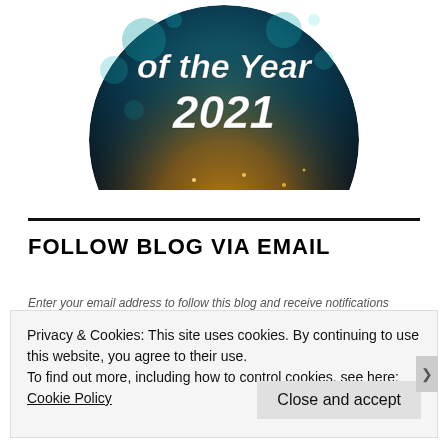[Figure (illustration): Circular badge graphic with dark teal/blue bokeh background and golden glitter, showing text 'of the Year 2021' in bold white italic font.]
FOLLOW BLOG VIA EMAIL
Enter your email address to follow this blog and receive notifications
Privacy & Cookies: This site uses cookies. By continuing to use this website, you agree to their use.
To find out more, including how to control cookies, see here: Cookie Policy
Close and accept